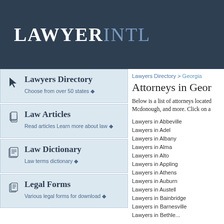LAWYERINTL
Lawyers Directory > Georgia
Attorneys in Georgia
Below is a list of attorneys located in Georgia. Includes attorneys in Albany, Mcdonough, and more. Click on a city to view attorneys.
Lawyers Directory — Choose from over 50 states
Law Articles — Read articles Learn more about law
Law Dictionary — Law terms dictionary
Legal Forms — Various legal forms for download
Lawyers in Abbeville
Lawyers in Adel
Lawyers in Albany
Lawyers in Alma
Lawyers in Alto
Lawyers in Appling
Lawyers in Athens
Lawyers in Auburn
Lawyers in Austell
Lawyers in Bainbridge
Lawyers in Barnesville
Lawyers in Bethlehem